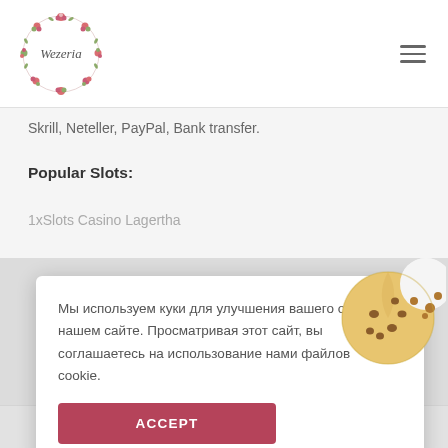Wezeria (logo with floral wreath)
Skrill, Neteller, PayPal, Bank transfer.
Popular Slots:
1xSlots Casino Lagertha
Мы используем куки для улучшения вашего опыта на нашем сайте. Просматривая этот сайт, вы соглашаетесь на использование нами файлов cookie.
ACCEPT